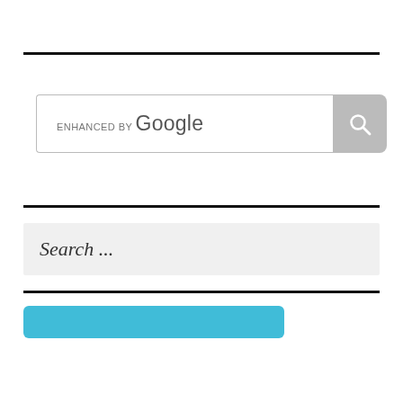[Figure (screenshot): Google enhanced search bar widget with search input box labeled 'ENHANCED BY Google' and a grey search button with magnifying glass icon]
[Figure (screenshot): Search input field with placeholder text 'Search ...' on a light grey background, with a teal chat bubble widget showing three dots and a circular avatar photo of a smiling woman with teal border ring]
[Figure (screenshot): Teal/cyan colored call-to-action button, partially visible at bottom]